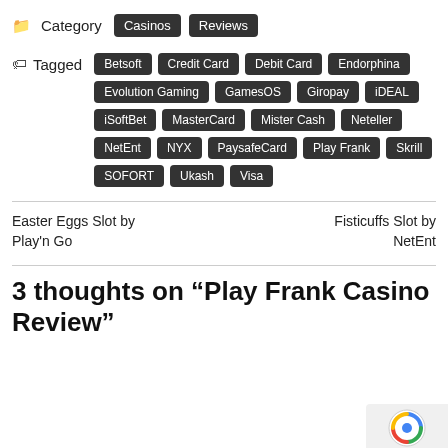Category   Casinos   Reviews
Tagged   Betsoft   Credit Card   Debit Card   Endorphina   Evolution Gaming   GamesOS   Giropay   iDEAL   iSoftBet   MasterCard   Mister Cash   Neteller   NetEnt   NYX   PaysafeCard   Play Frank   Skrill   SOFORT   Ukash   Visa
Easter Eggs Slot by Play'n Go
Fisticuffs Slot by NetEnt
3 thoughts on “Play Frank Casino Review”